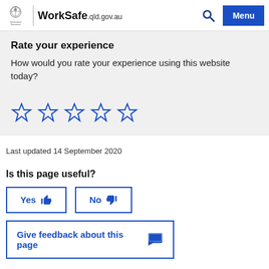WorkSafe.qld.gov.au
Rate your experience
How would you rate your experience using this website today?
[Figure (other): Five empty star rating icons in blue outline]
Last updated 14 September 2020
Is this page useful?
Yes (thumbs up button) | No (thumbs down button)
Give feedback about this page